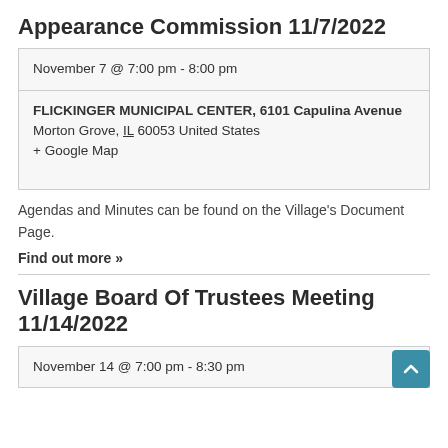Appearance Commission 11/7/2022
| November 7 @ 7:00 pm - 8:00 pm |
| FLICKINGER MUNICIPAL CENTER, 6101 Capulina Avenue
Morton Grove, IL 60053 United States
+ Google Map |
Agendas and Minutes can be found on the Village's Document Page.
Find out more »
Village Board Of Trustees Meeting 11/14/2022
| November 14 @ 7:00 pm - 8:30 pm |